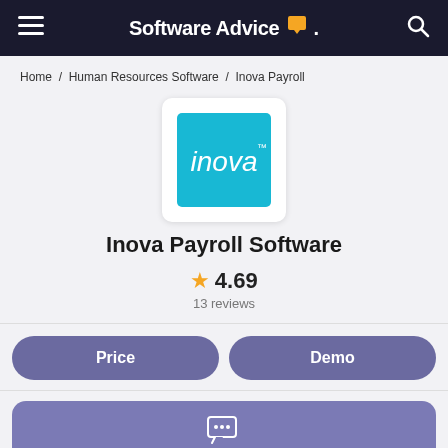Software Advice
Home / Human Resources Software / Inova Payroll
[Figure (logo): Inova logo — white italic 'inova' text on teal/cyan square background]
Inova Payroll Software
★ 4.69
13 reviews
Price
Demo
Chat